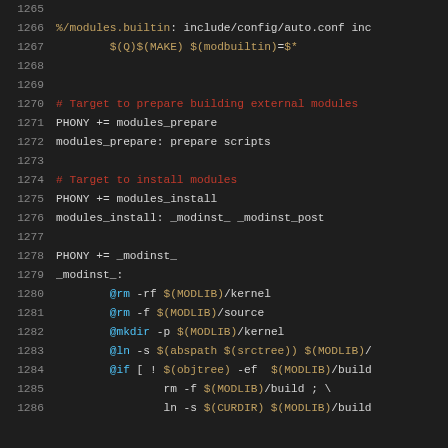Source code / Makefile snippet, lines 1265–1286
1265 (blank)
1266   %/modules.builtin: include/config/auto.conf inc
1267           $(Q)$(MAKE) $(modbuiltin)=$*
1268 (blank)
1269 (blank)
1270   # Target to prepare building external modules
1271   PHONY += modules_prepare
1272   modules_prepare: prepare scripts
1273 (blank)
1274   # Target to install modules
1275   PHONY += modules_install
1276   modules_install: _modinst_ _modinst_post
1277 (blank)
1278   PHONY += _modinst_
1279   _modinst_:
1280           @rm -rf $(MODLIB)/kernel
1281           @rm -f $(MODLIB)/source
1282           @mkdir -p $(MODLIB)/kernel
1283           @ln -s $(abspath $(srctree)) $(MODLIB)/
1284           @if [ ! $(objtree) -ef  $(MODLIB)/build
1285                   rm -f $(MODLIB)/build ; \
1286                   ln -s $(CURDIR) $(MODLIB)/build